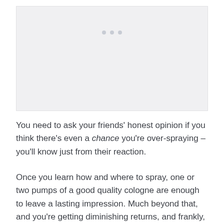[Figure (other): Gray placeholder image area with three dots visible near top center]
You need to ask your friends' honest opinion if you think there's even a chance you're over-spraying – you'll know just from their reaction.
Once you learn how and where to spray, one or two pumps of a good quality cologne are enough to leave a lasting impression. Much beyond that, and you're getting diminishing returns, and frankly, you're likely just undoing the positive effect of the